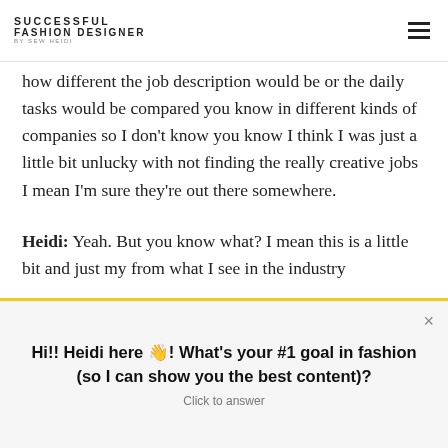SUCCESSFUL FASHION DESIGNER BY SEW HEIDI
how different the job description would be or the daily tasks would be compared you know in different kinds of companies so I don't know you know I think I was just a little bit unlucky with not finding the really creative jobs I mean I'm sure they're out there somewhere.
Heidi: Yeah. But you know what? I mean this is a little bit and just my from what I see in the industry
Hi!! Heidi here 👋! What's your #1 goal in fashion (so I can show you the best content)?
Click to answer